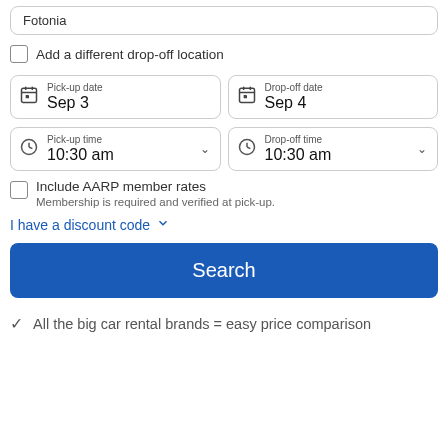Fotonia
Add a different drop-off location
Pick-up date
Sep 3
Drop-off date
Sep 4
Pick-up time
10:30 am
Drop-off time
10:30 am
Include AARP member rates
Membership is required and verified at pick-up.
I have a discount code
Search
All the big car rental brands = easy price comparison